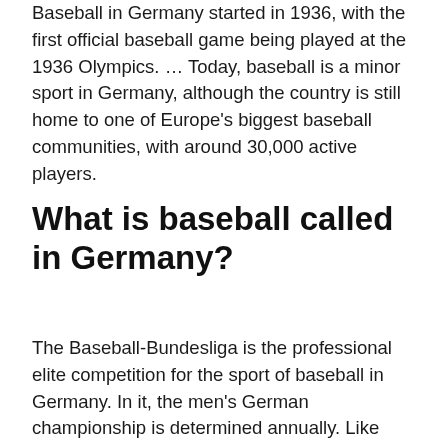Baseball in Germany started in 1936, with the first official baseball game being played at the 1936 Olympics. … Today, baseball is a minor sport in Germany, although the country is still home to one of Europe's biggest baseball communities, with around 30,000 active players.
What is baseball called in Germany?
The Baseball-Bundesliga is the professional elite competition for the sport of baseball in Germany. In it, the men's German championship is determined annually. Like most European sports leagues, the Bundesliga uses a system of promotion and relegation.